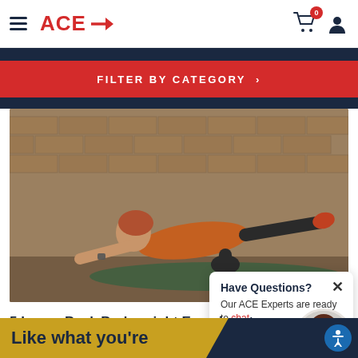ACE→
FILTER BY CATEGORY >
[Figure (photo): Woman performing a bird-dog exercise on a yoga mat in a gym with brick walls, wearing an orange top and dark leggings]
Have Questions? Our ACE Experts are ready to chat.
5 Lower Back Bodyweight Exercises to Ward off Low Back Pain
Like what you're